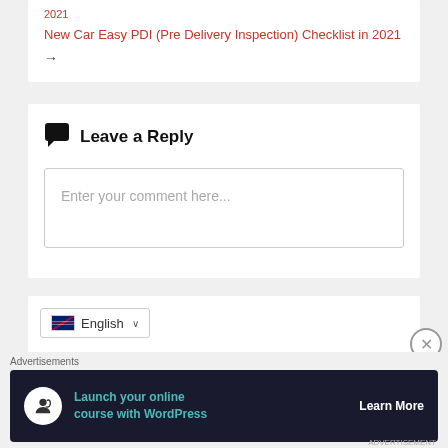2021
New Car Easy PDI (Pre Delivery Inspection) Checklist in 2021
→
Leave a Reply
Enter your comment here...
English
Advertisements
Launch your online course with WordPress
Learn More